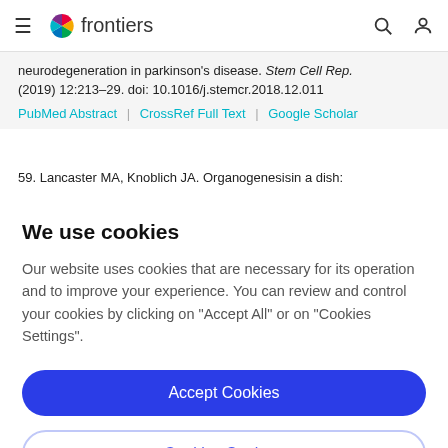frontiers
neurodegeneration in parkinson's disease. Stem Cell Rep. (2019) 12:213–29. doi: 10.1016/j.stemcr.2018.12.011
PubMed Abstract | CrossRef Full Text | Google Scholar
59. Lancaster MA, Knoblich JA. Organogenesisin a dish:
We use cookies
Our website uses cookies that are necessary for its operation and to improve your experience. You can review and control your cookies by clicking on "Accept All" or on "Cookies Settings".
Accept Cookies
Cookies Settings